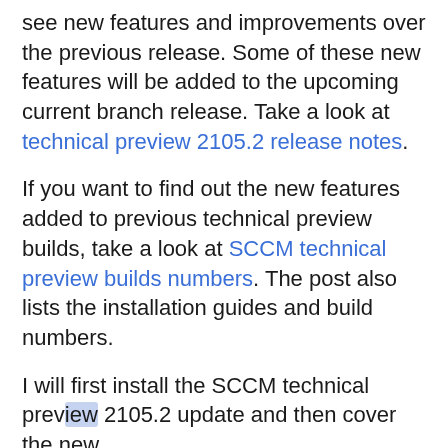see new features and improvements over the previous release. Some of these new features will be added to the upcoming current branch release. Take a look at technical preview 2105.2 release notes.
If you want to find out the new features added to previous technical preview builds, take a look at SCCM technical preview builds numbers. The post also lists the installation guides and build numbers.
I will first install the SCCM technical preview 2105.2 update and then cover the new